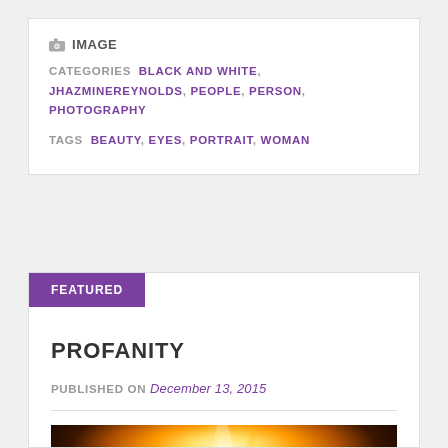IMAGE
CATEGORIES: BLACK AND WHITE, JHAZMINEREYNOLDS, PEOPLE, PERSON, PHOTOGRAPHY
TAGS: BEAUTY, EYES, PORTRAIT, WOMAN
FEATURED
PROFANITY
PUBLISHED ON December 13, 2015
[Figure (photo): Dark fire/flame image used as post thumbnail for article titled Profanity]